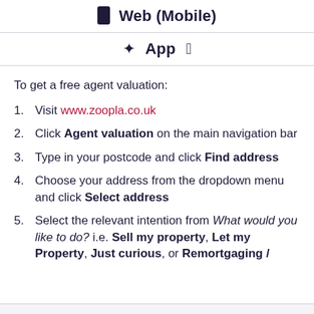Web (Mobile)
App
To get a free agent valuation:
Visit www.zoopla.co.uk
Click Agent valuation on the main navigation bar
Type in your postcode and click Find address
Choose your address from the dropdown menu and click Select address
Select the relevant intention from What would you like to do? i.e. Sell my property, Let my Property, Just curious, or Remortgaging /